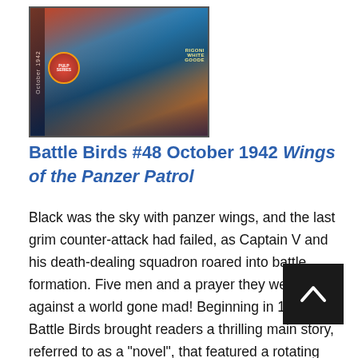[Figure (photo): Magazine cover of Battle Birds #48, October 1942. Shows a wartime aviation scene with aircraft, colored in reds, blues, and oranges. Left side has vertical text reading 'October 1942'. A red circular badge/logo is visible on the cover. Right side shows stacked text labels.]
Battle Birds #48 October 1942 Wings of the Panzer Patrol
Black was the sky with panzer wings, and the last grim counter-attack had failed, as Captain V and his death-dealing squadron roared into battle formation. Five men and a prayer they were — against a world gone mad! Beginning in 1932, Battle Birds brought readers a thrilling main story, referred to as a “novel”, that featured a rotating cast of main characters like The Three Mosquitoes and Smoke Wade. After nineteen issues, just over a year and a half after its debut, the mag began to feature the air adventures of Dusty Ayres, the magazine became officially titled Dusty Ayres and